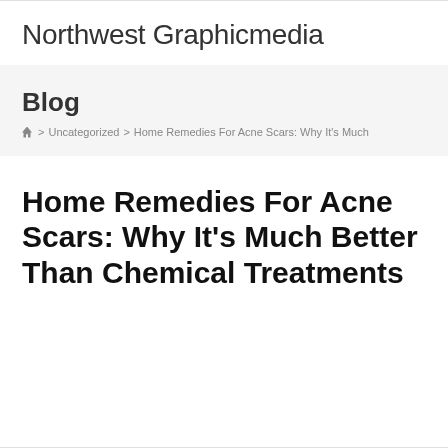Northwest Graphicmedia
Blog
🏠 > Uncategorized > Home Remedies For Acne Scars: Why It's Much
Home Remedies For Acne Scars: Why It's Much Better Than Chemical Treatments